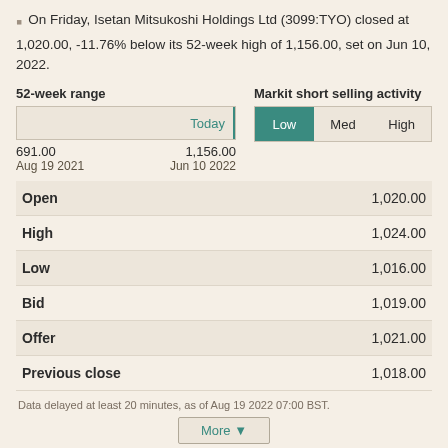On Friday, Isetan Mitsukoshi Holdings Ltd (3099:TYO) closed at 1,020.00, -11.76% below its 52-week high of 1,156.00, set on Jun 10, 2022.
| 52-week range |  |
| --- | --- |
| Today bar |  |
| 691.00 | 1,156.00 |
| Aug 19 2021 | Jun 10 2022 |
| Markit short selling activity |
| --- |
| Low | Med | High |
|  |  |
| --- | --- |
| Open | 1,020.00 |
| High | 1,024.00 |
| Low | 1,016.00 |
| Bid | 1,019.00 |
| Offer | 1,021.00 |
| Previous close | 1,018.00 |
Data delayed at least 20 minutes, as of Aug 19 2022 07:00 BST.
More ▼